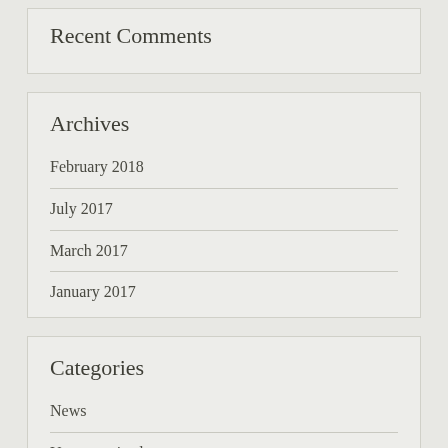Recent Comments
Archives
February 2018
July 2017
March 2017
January 2017
Categories
News
Uncategorized